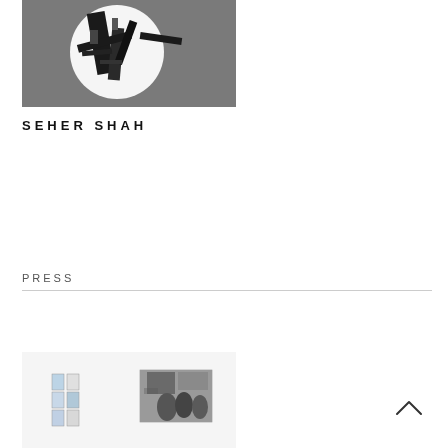[Figure (photo): Black and white photograph of an abstract geometric artwork featuring a large white circle with dark angular constructions overlaid on a grey background.]
SEHER SHAH
PRESS
[Figure (photo): Gallery installation view showing framed works on a white wall, including small printed images on the left and a larger black and white photograph of people in a garden on the right.]